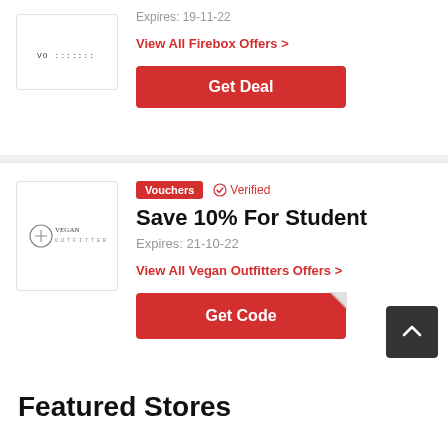Expires: 19-11-22
View All Firebox Offers >
Get Deal
Vouchers | Verified
Save 10% For Student
Expires: 21-10-22
View All Vegan Outfitters Offers >
Get Code
Featured Stores